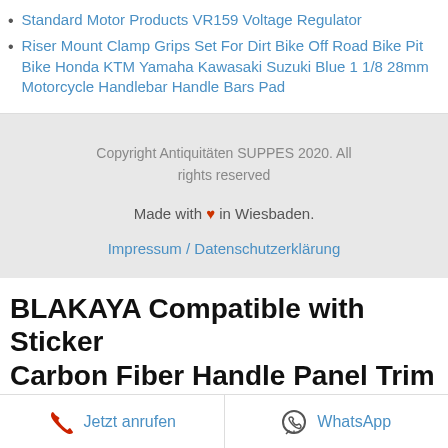Standard Motor Products VR159 Voltage Regulator
Riser Mount Clamp Grips Set For Dirt Bike Off Road Bike Pit Bike Honda KTM Yamaha Kawasaki Suzuki Blue 1 1/8 28mm Motorcycle Handlebar Handle Bars Pad
Copyright Antiquitäten SUPPES 2020. All rights reserved
Made with ♥ in Wiesbaden.
Impressum / Datenschutzerklärung
BLAKAYA Compatible with Sticker Carbon Fiber Handle Panel Trim
Jetzt anrufen   WhatsApp